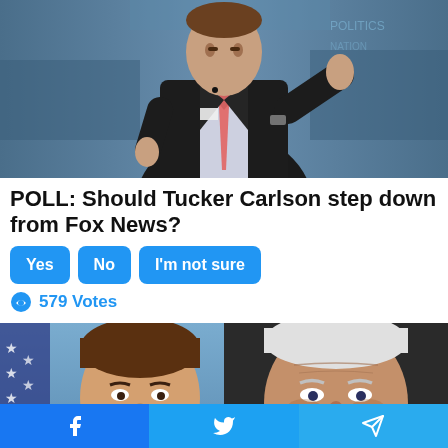[Figure (photo): Man in dark suit and pink tie speaking at a podium, blue background]
POLL: Should Tucker Carlson step down from Fox News?
Yes | No | I'm not sure
579 Votes
[Figure (photo): Two side-by-side portraits: left shows a younger man smiling with American flag, right shows an older man in dark setting]
[Figure (infographic): Social share bar with Facebook, Twitter, and Telegram buttons]